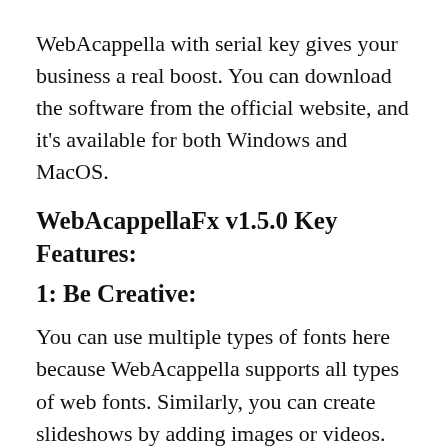WebAcappella with serial key gives your business a real boost. You can download the software from the official website, and it's available for both Windows and MacOS.
WebAcappellaFx v1.5.0 Key Features:
1: Be Creative:
You can use multiple types of fonts here because WebAcappella supports all types of web fonts. Similarly, you can create slideshows by adding images or videos. You can even integrate your HTML code. You get Internal Search Engine support in WebAcappella.  You can create styles that you